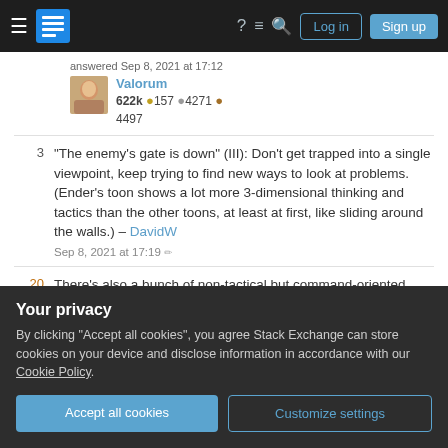Stack Exchange navigation bar with Log in and Sign up buttons
answered Sep 8, 2021 at 17:12
Valorum 622k 🥇157 🥈4271 🥉4497
3  "The enemy's gate is down" (III): Don't get trapped into a single viewpoint, keep trying to find new ways to look at problems. (Ender's toon shows a lot more 3-dimensional thinking and tactics than the other toons, at least at first, like sliding around the walls.) – DavidW Sep 8, 2021 at 17:19 ✏
20  There's also a bunch of non-tactical but command-oriented people stuff, like trying to find good
Your privacy
By clicking "Accept all cookies", you agree Stack Exchange can store cookies on your device and disclose information in accordance with our Cookie Policy.
Accept all cookies
Customize settings